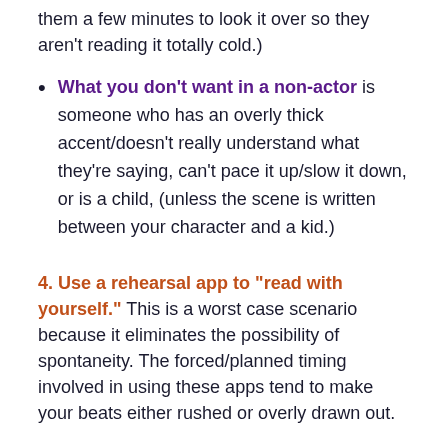them a few minutes to look it over so they aren't reading it totally cold.)
What you don't want in a non-actor is someone who has an overly thick accent/doesn't really understand what they're saying, can't pace it up/slow it down, or is a child, (unless the scene is written between your character and a kid.)
4. Use a rehearsal app to “read with yourself.”
This is a worst case scenario because it eliminates the possibility of spontaneity. The forced/planned timing involved in using these apps tend to make your beats either rushed or overly drawn out.